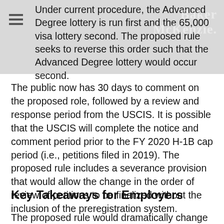Under current procedure, the Advanced Degree lottery is run first and the 65,000 visa lottery second. The proposed rule seeks to reverse this order such that the Advanced Degree lottery would occur second.
The public now has 30 days to comment on the proposed role, followed by a review and response period from the USCIS. It is possible that the USCIS will complete the notice and comment period prior to the FY 2020 H-1B cap period (i.e., petitions filed in 2019). The proposed rule includes a severance provision that would allow the change in the order of review of petitions to be finalized without the inclusion of the preregistration system.
Key Takeaways for Employers
The proposed rule would dramatically change the...